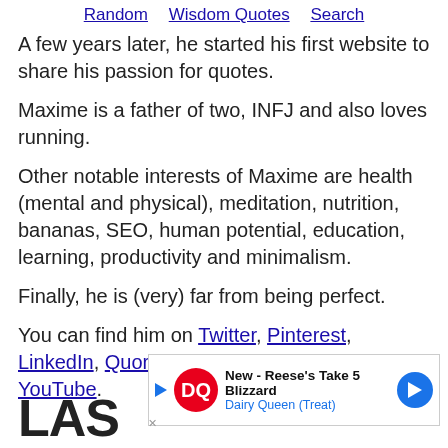Random   Wisdom Quotes   Search
A few years later, he started his first website to share his passion for quotes.
Maxime is a father of two, INFJ and also loves running.
Other notable interests of Maxime are health (mental and physical), meditation, nutrition, bananas, SEO, human potential, education, learning, productivity and minimalism.
Finally, he is (very) far from being perfect.
You can find him on Twitter, Pinterest, LinkedIn, Quora, Instagram, Facebook, YouTube.
[Figure (other): Dairy Queen advertisement banner: New - Reese's Take 5 Blizzard, Dairy Queen (Treat)]
LAS